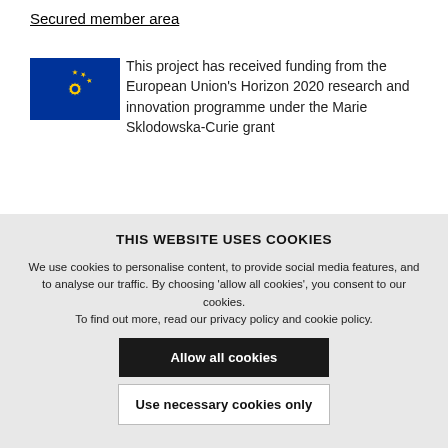Secured member area
[Figure (logo): European Union flag — blue background with circle of 12 gold stars]
This project has received funding from the European Union's Horizon 2020 research and innovation programme under the Marie Sklodowska-Curie grant
THIS WEBSITE USES COOKIES
We use cookies to personalise content, to provide social media features, and to analyse our traffic. By choosing 'allow all cookies', you consent to our cookies.
To find out more, read our privacy policy and cookie policy.
Allow all cookies
Use necessary cookies only